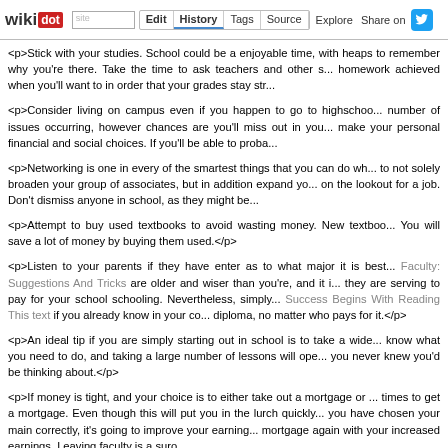wikidot | site | Edit | History | Tags | Source | Explore | Share on [twitter]
<p>Stick with your studies. School could be a enjoyable time, with heaps to remember why you're there. Take the time to ask teachers and other s... homework achieved when you'll want to in order that your grades stay str...
<p>Consider living on campus even if you happen to go to highschoo... number of issues occurring, however chances are you'll miss out in you... make your personal financial and social choices. If you'll be able to proba...
<p>Networking is one in every of the smartest things that you can do wh... to not solely broaden your group of associates, but in addition expand yo... on the lookout for a job. Don't dismiss anyone in school, as they might be...
<p>Attempt to buy used textbooks to avoid wasting money. New textboo... You will save a lot of money by buying them used.</p>
<p>Listen to your parents if they have enter as to what major it is best... Faculty: Suggestions And Tricks are older and wiser than you're, and it i... they are serving to pay for your school schooling. Nevertheless, simply... Success Begins With Reading This text if you already know in your co... diploma, no matter who pays for it.</p>
<p>An ideal tip if you are simply starting out in school is to take a wide... know what you need to do, and taking a large number of lessons will ope... you never knew you'd be thinking about.</p>
<p>If money is tight, and your choice is to either take out a mortgage or ... times to get a mortgage. Even though this will put you in the lurch quickly... you have chosen your main correctly, it's going to improve your earning... mortgage again with your increased earnings. Leaving faculty is a suro...